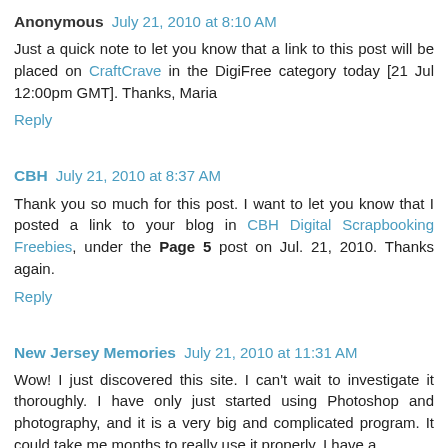Anonymous  July 21, 2010 at 8:10 AM
Just a quick note to let you know that a link to this post will be placed on CraftCrave in the DigiFree category today [21 Jul 12:00pm GMT]. Thanks, Maria
Reply
CBH  July 21, 2010 at 8:37 AM
Thank you so much for this post. I want to let you know that I posted a link to your blog in CBH Digital Scrapbooking Freebies, under the Page 5 post on Jul. 21, 2010. Thanks again.
Reply
New Jersey Memories  July 21, 2010 at 11:31 AM
Wow! I just discovered this site. I can't wait to investigate it thoroughly. I have only just started using Photoshop and photography, and it is a very big and complicated program. It could take me months to really use it properly. I have a